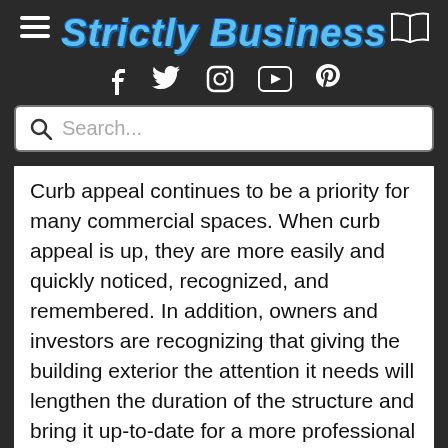Strictly Business
Curb appeal continues to be a priority for many commercial spaces. When curb appeal is up, they are more easily and quickly noticed, recognized, and remembered. In addition, owners and investors are recognizing that giving the building exterior the attention it needs will lengthen the duration of the structure and bring it up-to-date for a more professional look. Sustainable exterior wall and roofing systems will also lower the cost for strategic